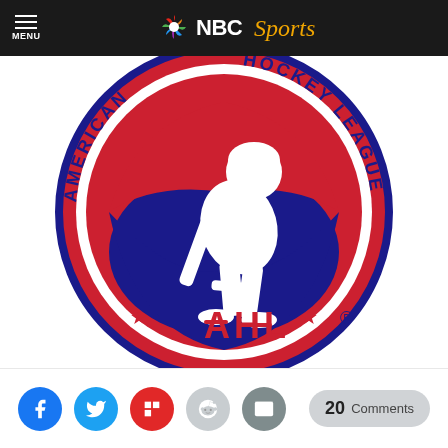[Figure (logo): NBC Sports logo with peacock icon in black navigation bar]
[Figure (logo): American Hockey League (AHL) circular logo featuring a hockey player silhouette in red, white, and blue with text AMERICAN HOCKEY LEAGUE around the border and AHL in the center bottom]
[Figure (infographic): Social sharing buttons: Facebook, Twitter, Flipboard, Reddit, Email, and a Comments button showing 20 Comments]